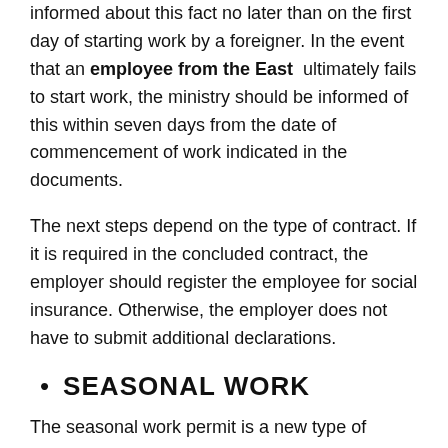informed about this fact no later than on the first day of starting work by a foreigner. In the event that an employee from the East ultimately fails to start work, the ministry should be informed of this within seven days from the date of commencement of work indicated in the documents.
The next steps depend on the type of contract. If it is required in the concluded contract, the employer should register the employee for social insurance. Otherwise, the employer does not have to submit additional declarations.
SEASONAL WORK
The seasonal work permit is a new type of permit that is issued by the starost for a maximum period of nine months a year. These types of orders are to relate to work dependent on the changes of the seasons, i.e. a greater need for additional assistance appears only in certain